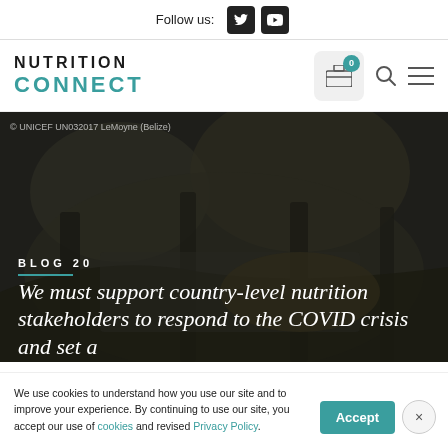Follow us: [Twitter] [YouTube]
[Figure (logo): Nutrition Connect logo with briefcase, search, and menu icons]
[Figure (photo): Dark outdoor background photo, credit: © UNICEF UN032017 LeMoyne (Belize)]
BLOG 20
We must support country-level nutrition stakeholders to respond to the COVID crisis and set a
We use cookies to understand how you use our site and to improve your experience. By continuing to use our site, you accept our use of cookies and revised Privacy Policy.